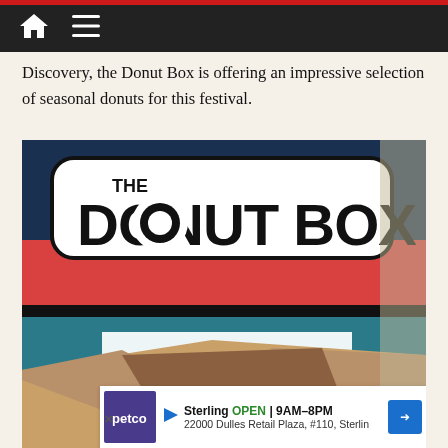Navigation header bar with home and menu icons
Discovery, the Donut Box is offering an impressive selection of seasonal donuts for this festival.
[Figure (photo): Photo of an open cardboard donut box in front of 'The Donut Box' branded signage. The sign has a dark navy background with red and teal stripes. The logo reads 'THE DONUT BOX' in bold black text on a white pill-shaped background. Below the logo is a white menu board with 'Menu' text in teal. The open cardboard box in the foreground shows a chocolate donut inside. An advertisement banner for Petco in Sterling (OPEN 9AM-8PM, 22000 Dulles Retail Plaza, #110, Sterling) overlays the bottom of the image.]